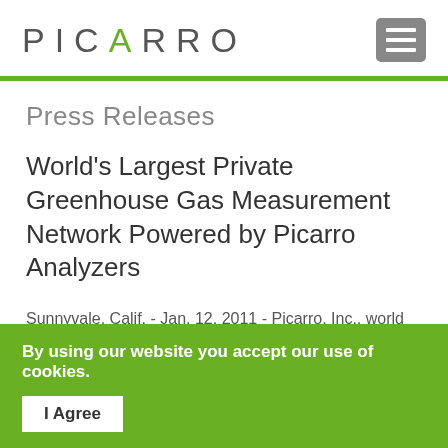PICARRO
Press Releases
World's Largest Private Greenhouse Gas Measurement Network Powered by Picarro Analyzers
Sunnyvale, Calif. - Jan. 12, 2011 - Picarro, Inc., world leader in instrumentation for measurement of
By using our website you accept our use of cookies.
I Agree